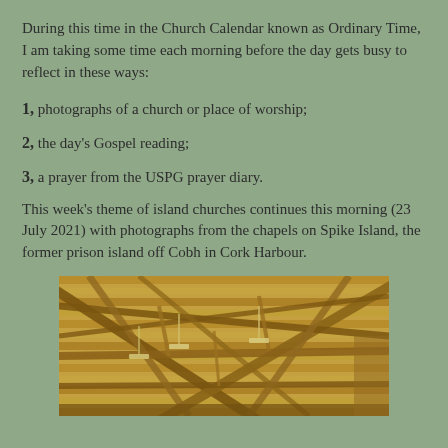During this time in the Church Calendar known as Ordinary Time, I am taking some time each morning before the day gets busy to reflect in these ways:
1, photographs of a church or place of worship;
2, the day's Gospel reading;
3, a prayer from the USPG prayer diary.
This week's theme of island churches continues this morning (23 July 2021) with photographs from the chapels on Spike Island, the former prison island off Cobh in Cork Harbour.
[Figure (photo): Interior photograph looking up at the wooden roof trusses and beams of a chapel on Spike Island, Cork Harbour. The wooden framework shows crossed beams and diagonal supports with hanging light fixtures visible.]